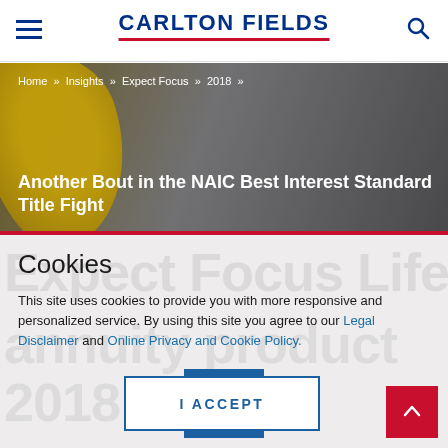CARLTON FIELDS
[Figure (photo): Hero image with yellow fabric/cloth held up against a grey sky background, with breadcrumb navigation and article title overlaid]
Home » Insights » Expect Focus » 2018 » Another Bout in the NAIC Best Interest Standard Title Fight
Cookies
This site uses cookies to provide you with more responsive and personalized service. By using this site you agree to our Legal Disclaimer and Online Privacy and Cookie Policy.
I ACCEPT